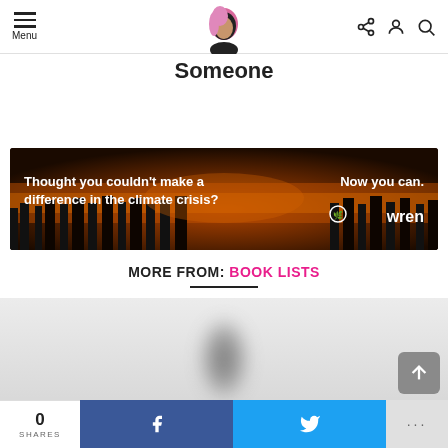Menu | [logo: person with pink hair] | [share icon] [user icon] [search icon]
Someone
[Figure (photo): Advertisement banner with wildfire background. Text on left: 'Thought you couldn't make a difference in the climate crisis?' Text on right: 'Now you can.' with Wren logo.]
MORE FROM: BOOK LISTS
[Figure (photo): Blurred thumbnail image of a book cover or similar content]
0 SHARES | [Facebook button] | [Twitter button] | ...